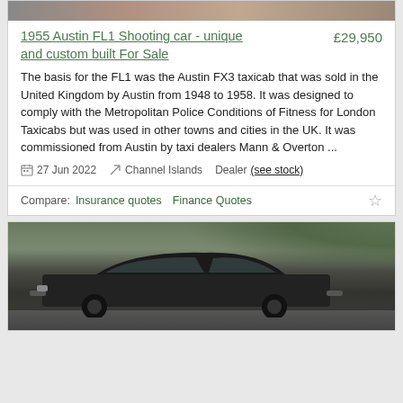[Figure (photo): Top portion of a car listing photo, cropped at top of page]
1955 Austin FL1 Shooting car - unique and custom built For Sale   £29,950
The basis for the FL1 was the Austin FX3 taxicab that was sold in the United Kingdom by Austin from 1948 to 1958. It was designed to comply with the Metropolitan Police Conditions of Fitness for London Taxicabs but was used in other towns and cities in the UK. It was commissioned from Austin by taxi dealers Mann & Overton ...
27 Jun 2022   Channel Islands   Dealer (see stock)
Compare:  Insurance quotes   Finance Quotes
[Figure (photo): Dark-colored vintage car (Austin FL1) parked outdoors with green foliage in background]